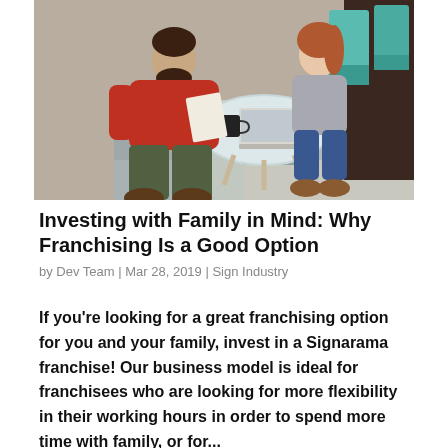[Figure (photo): Two people, a man in a red sweater and a woman, sitting on the floor near a couch looking at documents and a laptop on a small round table, in a living room setting with a patterned rug and teal chairs in the background.]
Investing with Family in Mind: Why Franchising Is a Good Option
by Dev Team | Mar 28, 2019 | Sign Industry
If you're looking for a great franchising option for you and your family, invest in a Signarama franchise! Our business model is ideal for franchisees who are looking for more flexibility in their working hours in order to spend more time with family, or for...